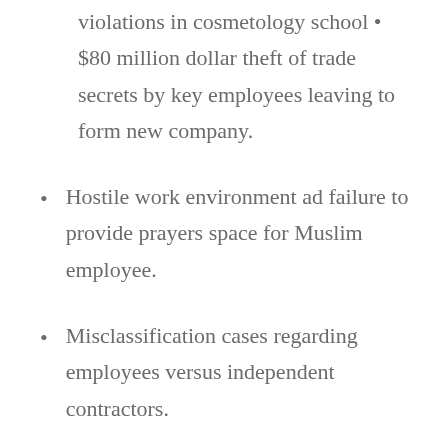violations in cosmetology school • $80 million dollar theft of trade secrets by key employees leaving to form new company.
Hostile work environment ad failure to provide prayers space for Muslim employee.
Misclassification cases regarding employees versus independent contractors.
Failure to accommodate depression.